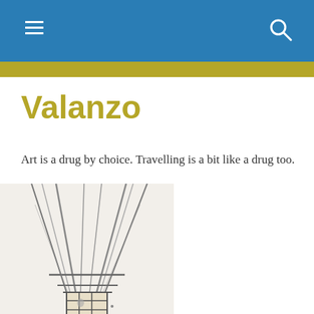Valanzo – navigation header with hamburger menu and search icon
Valanzo
Art is a drug by choice. Travelling is a bit like a drug too.
[Figure (illustration): Pencil sketch illustration of a hot air balloon showing the ropes and basket from below/side angle]
Privacy & Cookies: This site uses cookies. By continuing to use this website, you agree to their use.
To find out more, including how to control cookies, see here: Cookie Policy
Close and accept